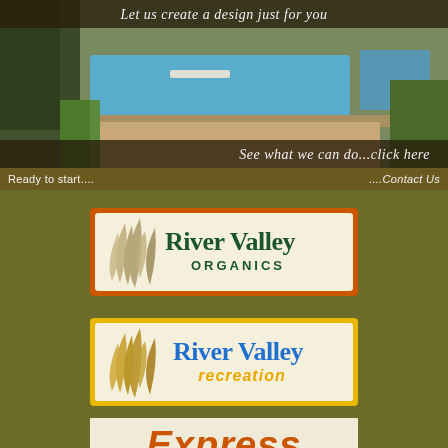[Figure (photo): 3D rendering of a backyard pool design with landscaping, diving board, hot tub, and patio area. Overlaid text at top: 'Let us create a design just for you' and at bottom: 'See what we can do...click here']
Ready to start....                                                  ....Contact Us
[Figure (logo): River Valley Organics logo — cream background with orange border, stylized wheat/grass graphic, green text 'River Valley' and smaller 'ORGANICS']
[Figure (logo): River Valley recreation logo — cream background with yellow border, stylized wheat/grass graphic, blue text 'River Valley' and gold text 'recreation']
[Figure (logo): Express logo — partial view showing orange italic text 'Express' on light background, partially cropped at page bottom]